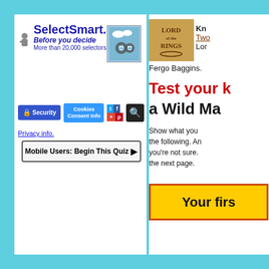[Figure (screenshot): SelectSmart.com website screenshot showing logo with tagline 'Before you decide / More than 20,000 selectors', a mobile quiz button, security/cookies/social media buttons, and a partial Lord of the Rings quiz advertisement on the right side.]
SelectSmart.com
Before you decide
More than 20,000 selectors
Mobile Users: Begin This Quiz ▶
🔒Security
Cookies Consent Info
Privacy info.
Kn... Two... Lor...
Fergo Baggins.
Test your k
a Wild Ma
Show what you... the following. An... you're not sure. the next page.
Your firs